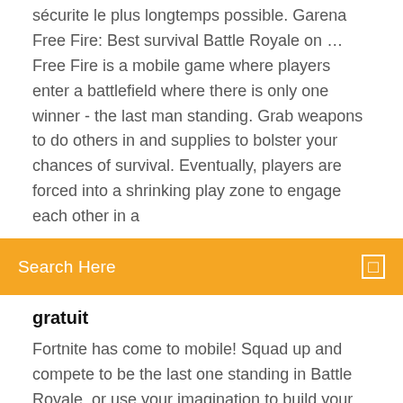sécurite le plus longtemps possible. Garena Free Fire: Best survival Battle Royale on … Free Fire is a mobile game where players enter a battlefield where there is only one winner - the last man standing. Grab weapons to do others in and supplies to bolster your chances of survival. Eventually, players are forced into a shrinking play zone to engage each other in a
Search Here
gratuit
Fortnite has come to mobile! Squad up and compete to be the last one standing in Battle Royale, or use your imagination to build your dream Fortnite in Creative. Requires an internet connection and iOS 11 or above. On mobile, Fortnite is the same game you know from PlayStation 4, Xbox One, PC, Mac, Switch. Same map, same gameplay, same weekly Download APK free online downloader | APKPure.com Download apk for Android with APKPure APK downloader. NoAds, Faster apk downloads